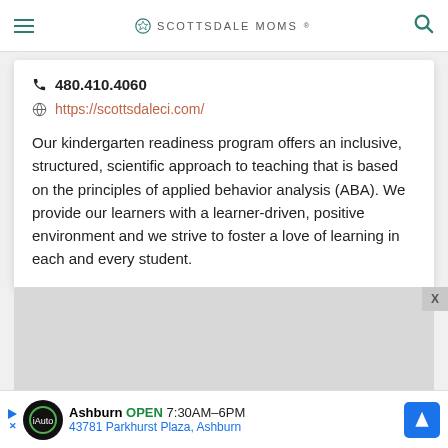≡  SCOTTSDALE MOMS  🔍
📞 480.410.4060
🌐 https://scottsdaleci.com/
Our kindergarten readiness program offers an inclusive, structured, scientific approach to teaching that is based on the principles of applied behavior analysis (ABA). We provide our learners with a learner-driven, positive environment and we strive to foster a love of learning in each and every student.
[Figure (other): Gray advertisement placeholder rectangle]
Ashburn OPEN 7:30AM–6PM 43781 Parkhurst Plaza, Ashburn